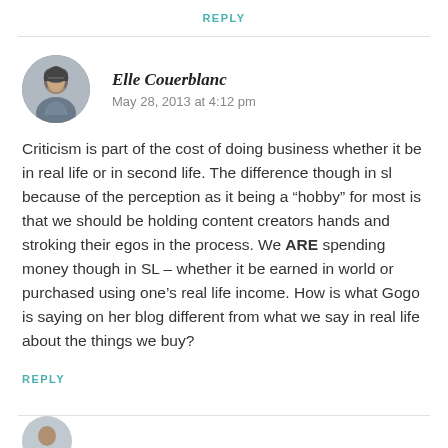REPLY
Elle Couerblanc
May 28, 2013 at 4:12 pm
Criticism is part of the cost of doing business whether it be in real life or in second life. The difference though in sl because of the perception as it being a “hobby” for most is that we should be holding content creators hands and stroking their egos in the process. We ARE spending money though in SL – whether it be earned in world or purchased using one’s real life income. How is what Gogo is saying on her blog different from what we say in real life about the things we buy?
REPLY